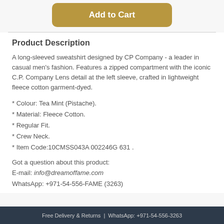[Figure (other): Add to Cart button in gold/tan color with rounded corners]
Product Description
A long-sleeved sweatshirt designed by CP Company - a leader in casual men's fashion. Features a zipped compartment with the iconic C.P. Company Lens detail at the left sleeve, crafted in lightweight fleece cotton garment-dyed.
* Colour: Tea Mint (Pistache).
* Material: Fleece Cotton.
* Regular Fit.
* Crew Neck.
* Item Code:10CMSS043A 002246G 631 .
Got a question about this product:
E-mail: info@dreamoffame.com
WhatsApp: +971-54-556-FAME (3263)
Free Delivery & Returns  |  WhatsApp: +971-54-556-3263